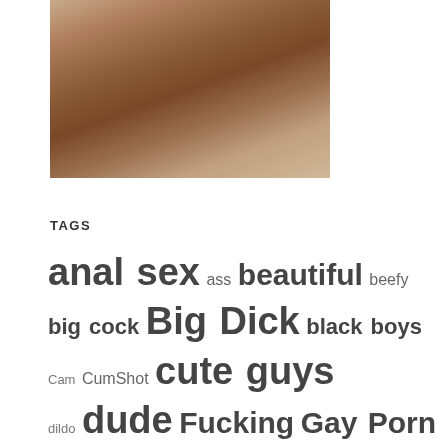[Figure (photo): Close-up photograph of human skin/body, dark tones with tan and brown colors]
TAGS
anal sex ass beautiful beefy big cock Big Dick black boys Cam CumShot cute guys dildo dude Fucking Gay Porn gloryhole Guys home video hot boys huge Interracial jerking off Lads Latin guy Licking masculine muscular Orgy self